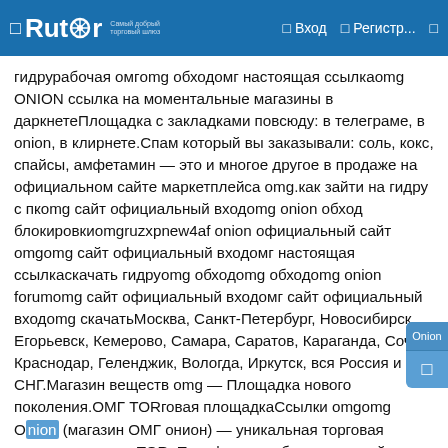Rutor — Вход — Регистр...
гидрурабочая омгomg обходомг настоящая ссылкаomg ONION ссылка на моментальные магазины в даркнетеПлощадка с закладками повсюду: в телеграме, в onion, в клирнете.Спам который вы заказывали: соль, кокс, спайсы, амфетамин — это и многое другое в продаже на официальном сайте маркетплейса omg.как зайти на гидру с пкomg сайт официальный входomg onion обход блокировкиomgruzxpnew4af onion официальный сайт omgomg сайт официальный входомг настоящая ссылкаскачать гидруomg обходomg обходomg onion forumomg сайт официальный входомг сайт официальный входomg скачатьМосква, Санкт-Петербург, Новосибирск, Егорьевск, Кемерово, Самара, Саратов, Караганда, Сочи, Краснодар, Геленджик, Вологда, Иркутск, вся Россия и СНГ.Магазин веществ omg — Площадка нового поколения.ОМГ TORговая площадкаСсылки omgomg Onion (магазин ОМГ онион) — уникальная торговая площадка в сети TOR. Платформа работает по всей территории РФ, Беларусии, Украины, Казахстана функционирует 24 часа в